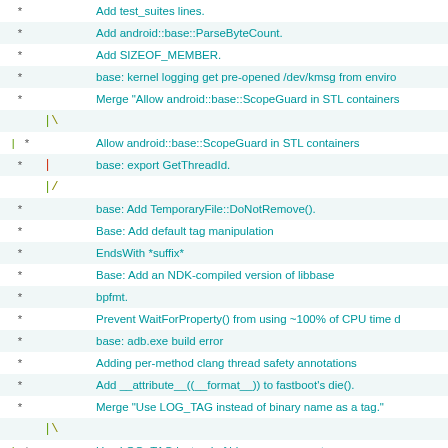| * | branch | message |
| --- | --- | --- |
| * |  | Add test_suites lines. |
| * |  | Add android::base::ParseByteCount. |
| * |  | Add SIZEOF_MEMBER. |
| * |  | base: kernel logging get pre-opened /dev/kmsg from enviro |
| * |  | Merge "Allow android::base::ScopeGuard in STL containers |
|  | |\ |  |
| | | * | Allow android::base::ScopeGuard in STL containers |
| * | | | base: export GetThreadId. |
|  | |/ |  |
| * |  | base: Add TemporaryFile::DoNotRemove(). |
| * |  | Base: Add default tag manipulation |
| * |  | EndsWith *suffix* |
| * |  | Base: Add an NDK-compiled version of libbase |
| * |  | bpfmt. |
| * |  | Prevent WaitForProperty() from using ~100% of CPU time d |
| * |  | base: adb.exe build error |
| * |  | Adding per-method clang thread safety annotations |
| * |  | Add __attribute__((__format__)) to fastboot's die(). |
| * |  | Merge "Use LOG_TAG instead of binary name as a tag." |
|  | |\ |  |
| | | * | Use LOG_TAG instead of binary name as a tag. |
| * | | | Merge "Add std::string StartsWith*/EndsWith* overloads." |
|  | |\ \ |  |
| | | * | | Add std::string StartsWith*/EndsWith* overloads. |
|  | | |/ |  |